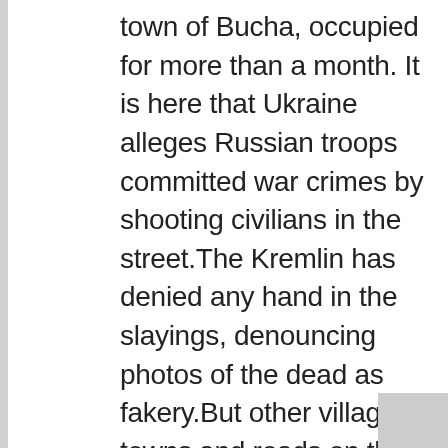town of Bucha, occupied for more than a month. It is here that Ukraine alleges Russian troops committed war crimes by shooting civilians in the street.The Kremlin has denied any hand in the slayings, denouncing photos of the dead as fakery.But other villages, towns and roads on the north-west flank of Kyiv have their own stories to tell.On Sunday, AFP saw the remains of two men — who seemed to be wearing civilian and military clothing — inside a shaft behind a motorway service station 15 kilometres (9 miles) west of the capital, near the village of Buzova.Village official Lyudmyla Zakabluk said both were members of Ukraine's Territorial Defence Forces (TDF), a reserve faction of Ukraine's armed forces. They had been missing since March 16.The distraught